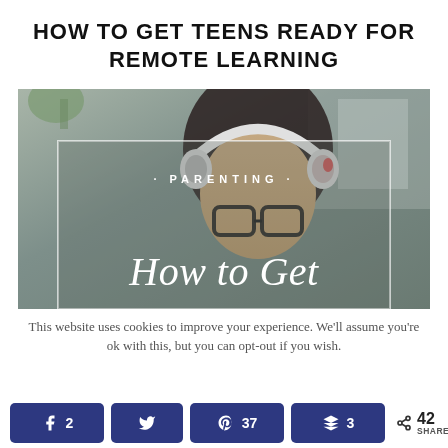HOW TO GET TEENS READY FOR REMOTE LEARNING
[Figure (photo): Photo thumbnail of a teen girl wearing headphones and glasses in a home setting, with overlay text showing 'PARENTING' and 'How to Get' in white serif italic font on a semi-transparent background.]
This website uses cookies to improve your experience. We'll assume you're ok with this, but you can opt-out if you wish.
Facebook: 2 | Twitter | Pinterest: 37 | Buffer: 3 | Share: 42 SHARES